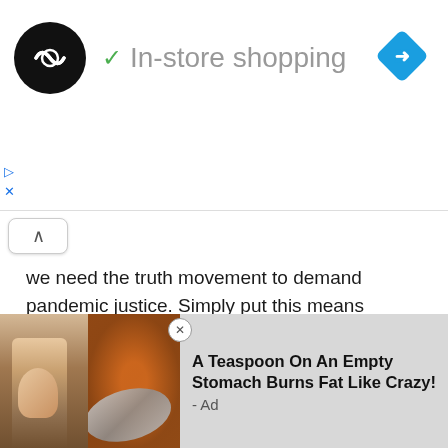[Figure (screenshot): Ad banner showing a business logo (circular black icon with infinity-like symbol), a checkmark and text 'In-store shopping', and a blue navigation diamond icon on the right. Small play and close controls below left.]
we need the truth movement to demand pandemic justice. Simply put this means demanding criminal prosecution of the great many evil people, such as Fauci and all the top officials of CDC, FDA and NIH and public health agencies who intentionally forced unsafe, ineffective and useless actions that have ruined lives and democratic government. CDC changed the definition of vaccine to allow gene therapy drugs to be called vaccines.
Desp... ite Disney: Financial Fall For One...
[Figure (screenshot): Bottom advertisement overlay showing two food/fitness images on the left and text 'A Teaspoon On An Empty Stomach Burns Fat Like Crazy! - Ad' on the right, with a close button.]